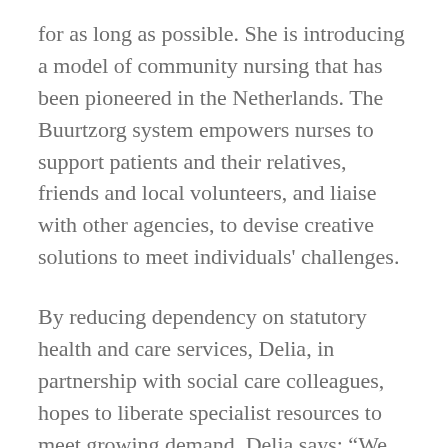for as long as possible. She is introducing a model of community nursing that has been pioneered in the Netherlands. The Buurtzorg system empowers nurses to support patients and their relatives, friends and local volunteers, and liaise with other agencies, to devise creative solutions to meet individuals' challenges.
By reducing dependency on statutory health and care services, Delia, in partnership with social care colleagues, hopes to liberate specialist resources to meet growing demand. Delia says: “We are building new connections with social care and the voluntary sector and reaching into communities. We are supporting people to realise the massive difference they can make by sharing in their intimacy to assist